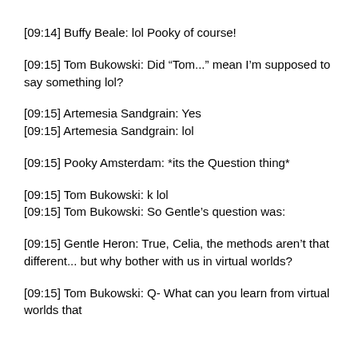[09:14] Buffy Beale: lol Pooky of course!
[09:15] Tom Bukowski: Did “Tom...” mean I’m supposed to say something lol?
[09:15] Artemesia Sandgrain: Yes
[09:15] Artemesia Sandgrain: lol
[09:15] Pooky Amsterdam: *its the Question thing*
[09:15] Tom Bukowski: k lol
[09:15] Tom Bukowski: So Gentle’s question was:
[09:15] Gentle Heron: True, Celia, the methods aren’t that different... but why bother with us in virtual worlds?
[09:15] Tom Bukowski: Q- What can you learn from virtual worlds that